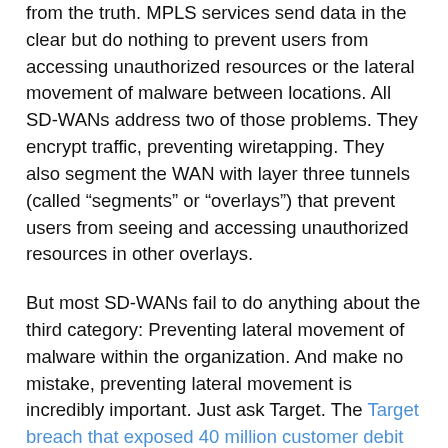from the truth. MPLS services send data in the clear but do nothing to prevent users from accessing unauthorized resources or the lateral movement of malware between locations. All SD-WANs address two of those problems. They encrypt traffic, preventing wiretapping. They also segment the WAN with layer three tunnels (called “segments” or “overlays”) that prevent users from seeing and accessing unauthorized resources in other overlays.
But most SD-WANs fail to do anything about the third category: Preventing lateral movement of malware within the organization. And make no mistake, preventing lateral movement is incredibly important. Just ask Target. The Target breach that exposed 40 million customer debit and credit card accounts, led to